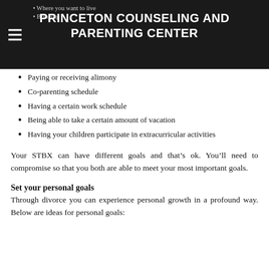PRINCETON COUNSELING AND PARENTING CENTER
Where you want to live
Bringing [children/pets]
Paying or receiving alimony
Co-parenting schedule
Having a certain work schedule
Being able to take a certain amount of vacation
Having your children participate in extracurricular activities
Your STBX can have different goals and that's ok. You'll need to compromise so that you both are able to meet your most important goals.
Set your personal goals
Through divorce you can experience personal growth in a profound way. Below are ideas for personal goals: